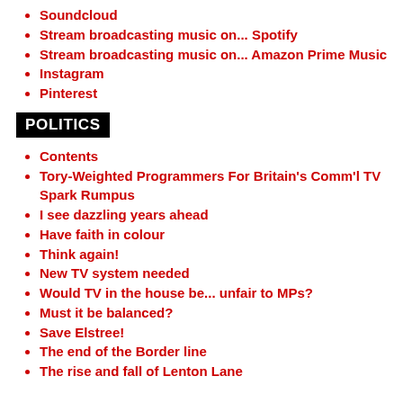Soundcloud
Stream broadcasting music on... Spotify
Stream broadcasting music on... Amazon Prime Music
Instagram
Pinterest
POLITICS
Contents
Tory-Weighted Programmers For Britain's Comm'l TV Spark Rumpus
I see dazzling years ahead
Have faith in colour
Think again!
New TV system needed
Would TV in the house be... unfair to MPs?
Must it be balanced?
Save Elstree!
The end of the Border line
The rise and fall of Lenton Lane